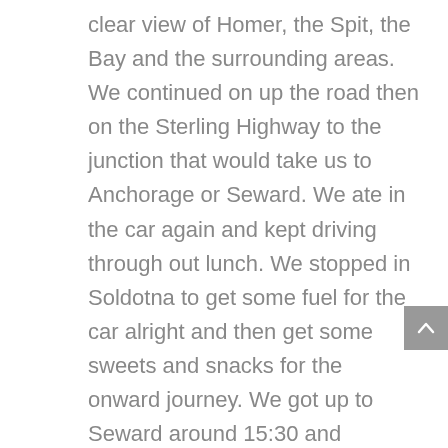clear view of Homer, the Spit, the Bay and the surrounding areas. We continued on up the road then on the Sterling Highway to the junction that would take us to Anchorage or Seward. We ate in the car again and kept driving through out lunch. We stopped in Soldotna to get some fuel for the car alright and then get some sweets and snacks for the onward journey. We got up to Seward around 15:30 and checked into the apartment that we were staying in for the coming few days. It was called the Harbourview Inn and we were in the C street apartment. We were a little early but the room was ready so we checked in. We dropped off our bags, put the food in the fridge and then decided to go out for a walk around the place and see what it was like. We had